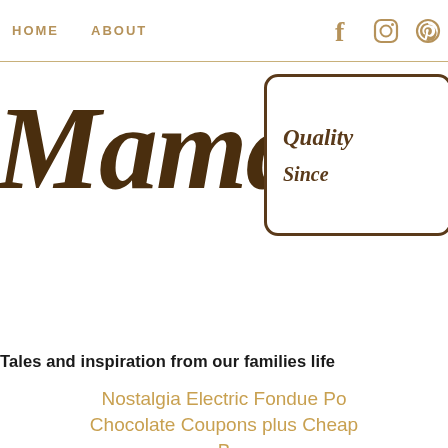HOME   ABOUT   [Facebook] [Instagram] [Pinterest]
[Figure (logo): Mamas Sp... logo with brush script text and a rectangular stamp box reading 'Quality Since...']
Tales and inspiration from our families life
Nostalgia Electric Fondue Po... Chocolate Coupons plus Cheap... B...